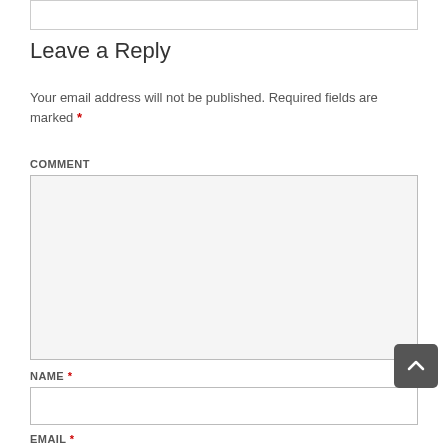Leave a Reply
Your email address will not be published. Required fields are marked *
COMMENT
NAME *
EMAIL *